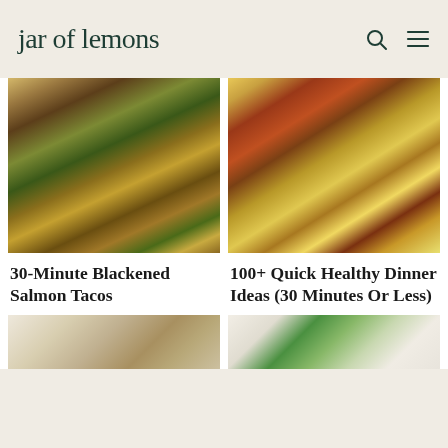jar of lemons
[Figure (photo): Overhead view of blackened salmon tacos on a plate with corn, purple cabbage, and cilantro]
[Figure (photo): Overhead view of quick healthy chicken tacos with colorful toppings including corn, peppers, purple cabbage on white plate]
30-Minute Blackened Salmon Tacos
100+ Quick Healthy Dinner Ideas (30 Minutes Or Less)
[Figure (photo): Partial view of food preparation on wooden cutting board]
[Figure (photo): Partial view of food preparation with greens and cutting board]